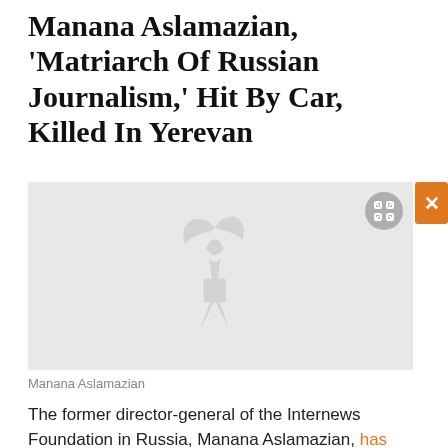Manana Aslamazian, 'Matriarch Of Russian Journalism,' Hit By Car, Killed In Yerevan
[Figure (photo): Light gray placeholder image with a faded RFE/RL bird-like watermark logo in the center. An expand icon button is visible in the top-right corner, and an orange close (X) button is on the far right edge.]
Manana Aslamazian
The former director-general of the Internews Foundation in Russia, Manana Aslamazian, has